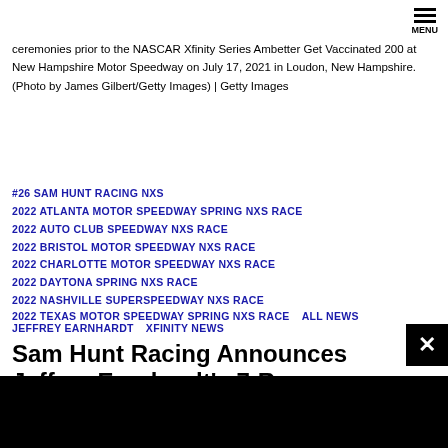ceremonies prior to the NASCAR Xfinity Series Ambetter Get Vaccinated 200 at New Hampshire Motor Speedway on July 17, 2021 in Loudon, New Hampshire. (Photo by James Gilbert/Getty Images) | Getty Images
#26 SAM HUNT RACING NXS
2022 ATLANTA MOTOR SPEEDWAY SPRING NXS RACE
2022 AUTO CLUB SPEEDWAY NXS RACE
2022 BRISTOL MOTOR SPEEDWAY NXS RACE
2022 CHARLOTTE MOTOR SPEEDWAY NXS RACE
2022 DAYTONA SPRING NXS RACE
2022 NASHVILLE SUPERSPEEDWAY NXS RACE
2022 TEXAS MOTOR SPEEDWAY SPRING NXS RACE
ALL NEWS
JEFFREY EARNHARDT
XFINITY NEWS
Sam Hunt Racing Announces Jeffrey Earnhardt's 7-Race Schedule for 2022